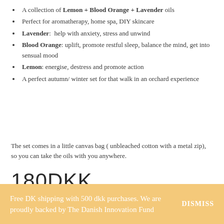A collection of Lemon + Blood Orange + Lavender oils
Perfect for aromatherapy, home spa, DIY skincare
Lavender:  help with anxiety, stress and unwind
Blood Orange: uplift, promote restful sleep, balance the mind, get into sensual mood
Lemon: energise, destress and promote action
A perfect autumn/ winter set for that walk in an orchard experience
The set comes in a little canvas bag ( unbleached cotton with a metal zip), so you can take the oils with you anywhere.
180DKK
Free DK shipping with 500 dkk purchases. We are proudly backed by The Danish Innovation Fund    DISMISS